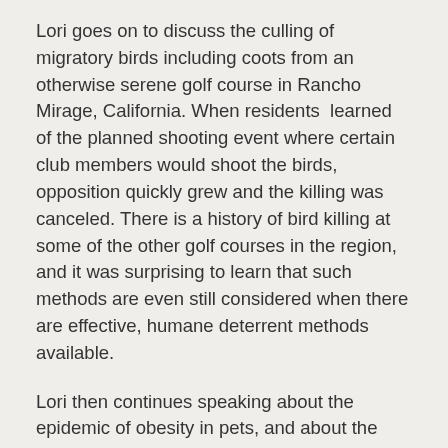Lori goes on to discuss the culling of migratory birds including coots from an otherwise serene golf course in Rancho Mirage, California. When residents  learned of the planned shooting event where certain club members would shoot the birds, opposition quickly grew and the killing was canceled. There is a history of bird killing at some of the other golf courses in the region, and it was surprising to learn that such methods are even still considered when there are effective, humane deterrent methods available.
Lori then continues speaking about the epidemic of obesity in pets, and about the majestic American Bison.
Lori's special guest for the show is Ron King, CEO and Co-founder of Oscar's Place Adoption Center and